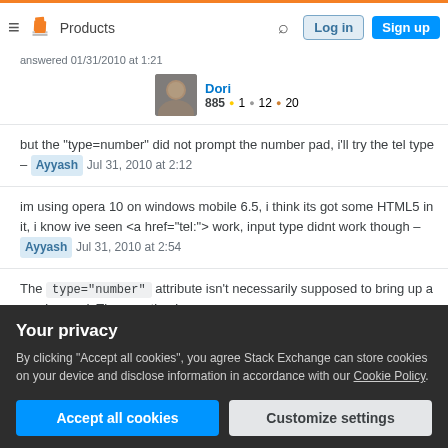Stack Overflow navigation: hamburger menu, logo, Products, search, Log in, Sign up
Dori 885 ●1 ●12 ●20
but the "type=number" did not prompt the number pad, i'll try the tel type – Ayyash Jul 31, 2010 at 2:12
im using opera 10 on windows mobile 6.5, i think its got some HTML5 in it, i know ive seen <a href="tel:"> work, input type didnt work though – Ayyash Jul 31, 2010 at 2:54
The type="number" attribute isn't necessarily supposed to bring up a number pad. The question is:
Your privacy
By clicking "Accept all cookies", you agree Stack Exchange can store cookies on your device and disclose information in accordance with our Cookie Policy.
Accept all cookies   Customize settings
408-555-5555</a> . – Dori Jul 31, 2010 at 5:01